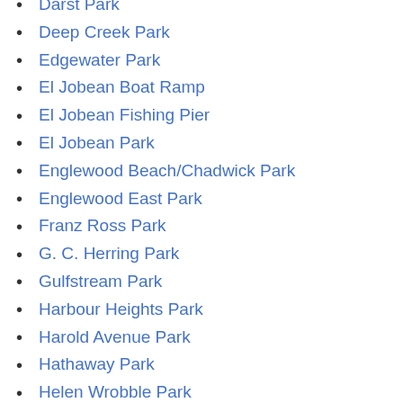Darst Park
Deep Creek Park
Edgewater Park
El Jobean Boat Ramp
El Jobean Fishing Pier
El Jobean Park
Englewood Beach/Chadwick Park
Englewood East Park
Franz Ross Park
G. C. Herring Park
Gulfstream Park
Harbour Heights Park
Harold Avenue Park
Hathaway Park
Helen Wrobble Park